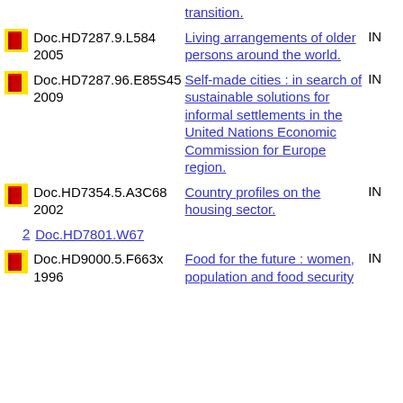Doc.HD7287.9.L584 2005 | Living arrangements of older persons around the world. | IN
Doc.HD7287.96.E85S45 2009 | Self-made cities : in search of sustainable solutions for informal settlements in the United Nations Economic Commission for Europe region. | IN
Doc.HD7354.5.A3C68 2002 | Country profiles on the housing sector. | IN
2 Doc.HD7801.W67
Doc.HD9000.5.F663x 1996 | Food for the future : women, population and food security | IN